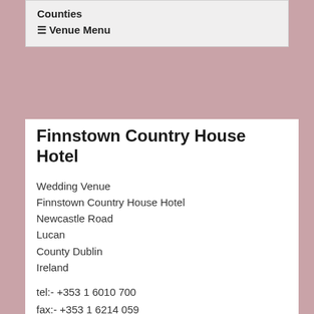Counties
☰ Venue Menu
Finnstown Country House Hotel
Wedding Venue
Finnstown Country House Hotel
Newcastle Road
Lucan
County Dublin
Ireland
tel:- +353 1 6010 700
fax:- +353 1 6214 059
web address:- www.finnstowncastlehotel.com/
e-mail:- manager@finnstown-hotel.ie
Finnstown Country House Hotel :-
Venue type - Hotel

Number of function rooms available for weddings: 1